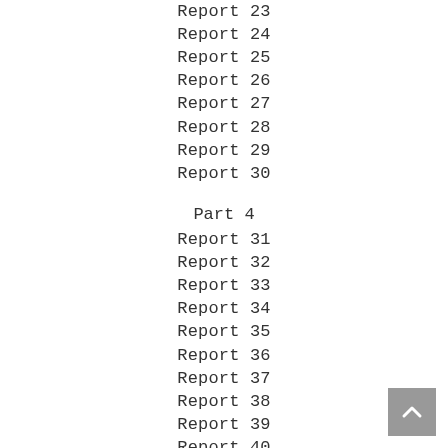Report 23
Report 24
Report 25
Report 26
Report 27
Report 28
Report 29
Report 30
Part 4
Report 31
Report 32
Report 33
Report 34
Report 35
Report 36
Report 37
Report 38
Report 39
Report 40
EPISODE